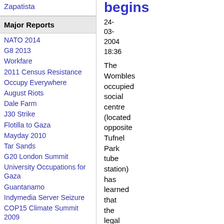Zapatista
Major Reports
NATO 2014
G8 2013
Workfare
2011 Census Resistance
Occupy Everywhere
August Riots
Dale Farm
J30 Strike
Flotilla to Gaza
Mayday 2010
Tar Sands
G20 London Summit
University Occupations for Gaza
Guantanamo
Indymedia Server Seizure
COP15 Climate Summit 2009
Carmel Agrexco
begins
24-03-2004 18:36
The Wombles occupied social centre (located opposite Tufnel Park tube station) has learned that the legal process for eviction has begun....
Related Categories